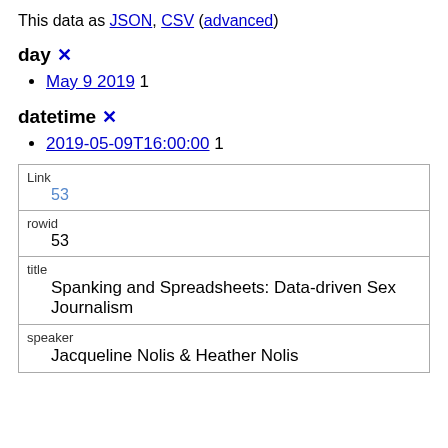This data as JSON, CSV (advanced)
day ✕
May 9 2019  1
datetime ✕
2019-05-09T16:00:00  1
| Link | rowid | title | speaker |
| --- | --- | --- | --- |
| 53 |
| 53 |
| Spanking and Spreadsheets: Data-driven Sex Journalism |
| Jacqueline Nolis & Heather Nolis |